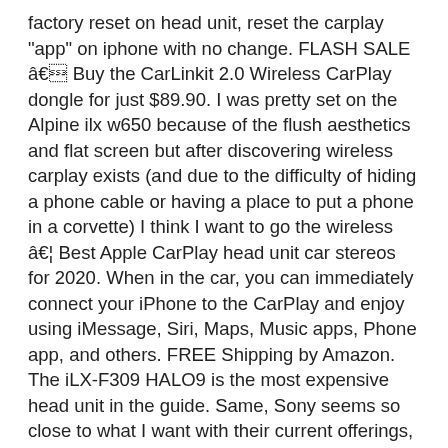factory reset on head unit, reset the carplay "app" on iphone with no change. FLASH SALE â Buy the CarLinkit 2.0 Wireless CarPlay dongle for just $89.90. I was pretty set on the Alpine ilx w650 because of the flush aesthetics and flat screen but after discovering wireless carplay exists (and due to the difficulty of hiding a phone cable or having a place to put a phone in a corvette) I think I want to go the wireless â¦ Best Apple CarPlay head unit car stereos for 2020. When in the car, you can immediately connect your iPhone to the CarPlay and enjoy using iMessage, Siri, Maps, Music apps, Phone app, and others. FREE Shipping by Amazon. The iLX-F309 HALO9 is the most expensive head unit in the guide. Same, Sony seems so close to what I want with their current offerings, just a couple tiny extra things and I think I'll be ready to buy. But I mean everyone has their own level of risk tolerance. I was planning on buying the Alpine ilx-107 and saw your comment; makes perfect sense to wait! Get it as soon as Tue, Dec 22. The ones beginning with Z in their model number. Only CarPlay head unit among car manufacturers and